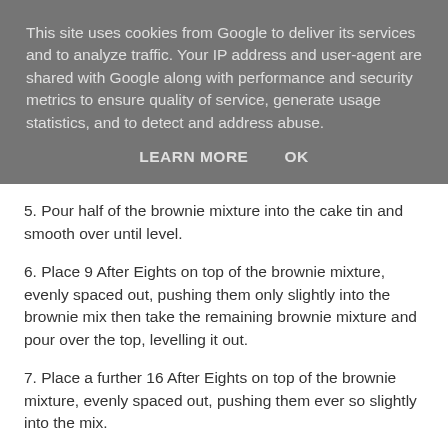This site uses cookies from Google to deliver its services and to analyze traffic. Your IP address and user-agent are shared with Google along with performance and security metrics to ensure quality of service, generate usage statistics, and to detect and address abuse.
LEARN MORE    OK
5. Pour half of the brownie mixture into the cake tin and smooth over until level.
6. Place 9 After Eights on top of the brownie mixture, evenly spaced out, pushing them only slightly into the brownie mix then take the remaining brownie mixture and pour over the top, levelling it out.
7. Place a further 16 After Eights on top of the brownie mixture, evenly spaced out, pushing them ever so slightly into the mix.
7. Bake in the pre heated oven for 25-30 minutes. The